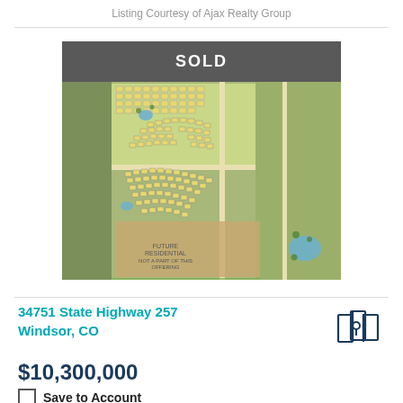Listing Courtesy of Ajax Realty Group
[Figure (photo): Aerial/site plan map of residential development at 34751 State Highway 257, Windsor, CO with a SOLD overlay banner]
34751 State Highway 257
Windsor, CO
$10,300,000
Save to Account